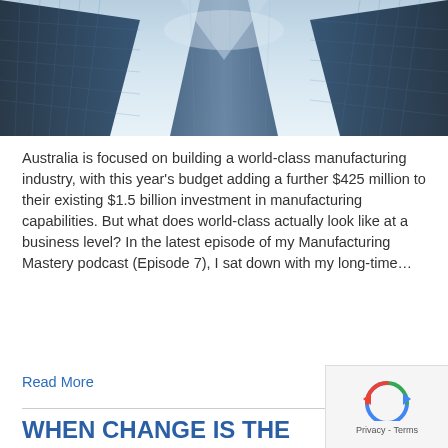[Figure (photo): Upward-looking view of modern glass skyscrapers with blue sky and reflections]
Australia is focused on building a world-class manufacturing industry, with this year's budget adding a further $425 million to their existing $1.5 billion investment in manufacturing capabilities. But what does world-class actually look like at a business level? In the latest episode of my Manufacturing Mastery podcast (Episode 7), I sat down with my long-time…
Read More
WHEN CHANGE IS THE